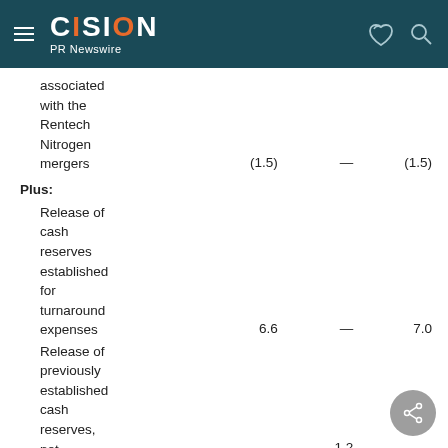CISION PR Newswire
|  |  |  |  |
| --- | --- | --- | --- |
| associated with the Rentech Nitrogen mergers | (1.5) | — | (1.5) |
| Plus: |  |  |  |
| Release of cash reserves established for turnaround expenses | 6.6 | — | 7.0 |
| Release of previously established cash reserves, net |  | 1.2 |  |